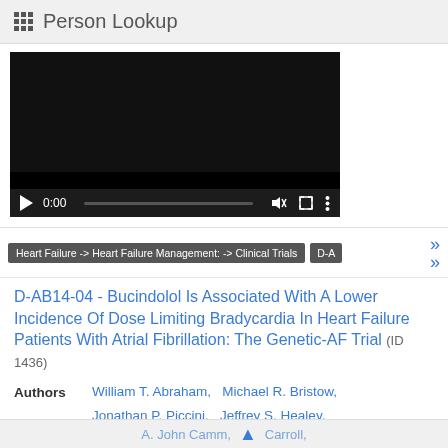Person Lookup
[Figure (screenshot): Embedded video player showing a dark/black frame with playback controls at bottom (play button, 0:00 timestamp, progress bar, volume, fullscreen, more options icons)]
Heart Failure -> Heart Failure Management: -> Clinical Trials   D-A
D-AB14-04 - Bucindolol Is Associated With A Lower Incidence Of Dose Limiting Bradycardia In Heart Failure Patients With Atrial Fibrillation: The Genetic-AF Trial (ID 1436)
Authors   William T. Abraham,   Michael R. Bristow,   Jonathan P. Piccini,   Jeffrey S. Healey,   Dirk J. Van Veldhuisen,   Inder Anand,   Michel White,   Stephen B. Wilton,   Michiel Rienstra,   William H. Sauer,   A. John Camm,   Carroll,